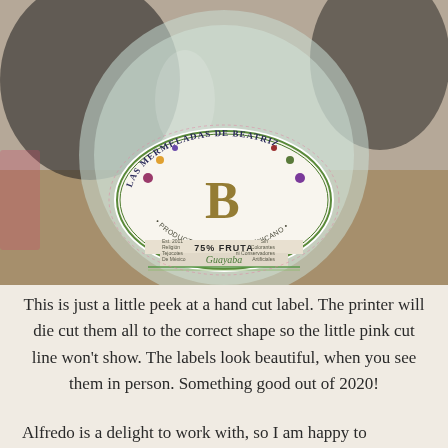[Figure (photo): A photograph of a glass jar/bottle with a decorative label reading 'Las Mermeladas de Beatriz' with a large ornate B in the center, surrounded by illustrated fruits and flowers. The label also reads 'Producto Artesanal Mexicano', '75% Fruta', and 'Guayaba' at the bottom.]
This is just a little peek at a hand cut label. The printer will die cut them all to the correct shape so the little pink cut line won't show. The labels look beautiful, when you see them in person. Something good out of 2020!
Alfredo is a delight to work with, so I am happy to